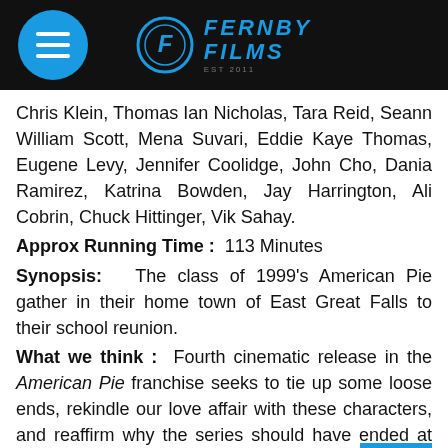Fernby Films
Chris Klein, Thomas Ian Nicholas, Tara Reid, Seann William Scott, Mena Suvari, Eddie Kaye Thomas, Eugene Levy, Jennifer Coolidge, John Cho, Dania Ramirez, Katrina Bowden, Jay Harrington, Ali Cobrin, Chuck Hittinger, Vik Sahay.
Approx Running Time: 113 Minutes
Synopsis: The class of 1999's American Pie gather in their home town of East Great Falls to their school reunion.
What we think: Fourth cinematic release in the American Pie franchise seeks to tie up some loose ends, rekindle our love affair with these characters, and reaffirm why the series should have ended at the Wedding of Jim and Michelle. Plenty of raunchy coupled with a gratuity of sexy babes and buff